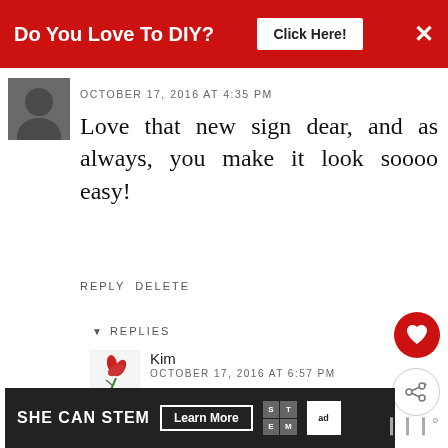[Figure (other): Red ad banner with 'Do You Love To DIY?' text, 'Click Here!' button, and close X]
[Figure (photo): Small avatar photo of a person]
OCTOBER 17, 2016 AT 4:35 PM
Love that new sign dear, and as always, you make it look soooo easy!
REPLY DELETE
▾ REPLIES
[Figure (logo): Small floral/botanical avatar logo for Kim]
Kim
OCTOBER 17, 2016 AT 6:57 PM
Thank you, Vel...a one was easy! ;)
[Figure (other): WHAT'S NEXT arrow with thumbnail image and text 'A Simple Wooden...']
[Figure (other): SHE CAN STEM ad banner with Learn More button, STEM logo, and ad council logo]
[Figure (other): Heart favorite button (red circle with heart icon)]
[Figure (other): Share button (circle with share icon)]